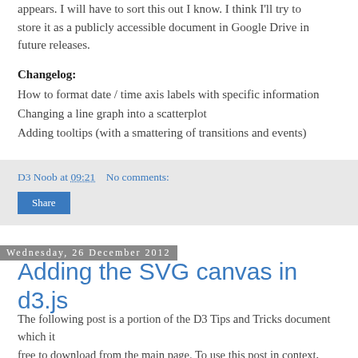appears. I will have to sort this out I know. I think I'll try to store it as a publicly accessible document in Google Drive in future releases.
Changelog:
How to format date / time axis labels with specific information
Changing a line graph into a scatterplot
Adding tooltips (with a smattering of transitions and events)
D3 Noob at 09:21    No comments:
Share
Wednesday, 26 December 2012
Adding the SVG canvas in d3.js
The following post is a portion of the D3 Tips and Tricks document which it free to download from the main page. To use this post in context, consider it with the others in the blog or just download the pdf :-)